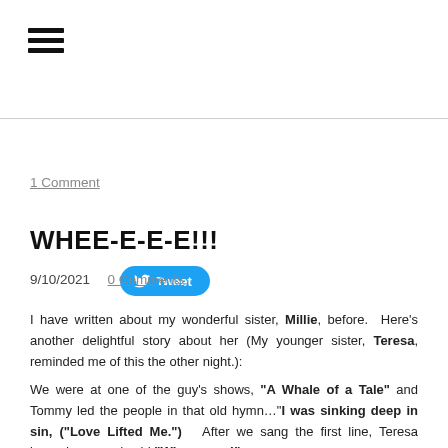[Figure (other): Hamburger menu icon (three horizontal lines)]
[Figure (other): Twitter Tweet button (blue rounded pill with bird icon)]
1 Comment
WHEE-E-E-E!!!
9/10/2021  0 Comments
I have written about my wonderful sister, Millie, before.  Here's another delightful story about her (My younger sister, Teresa, reminded me of this the other night.):
We were at one of the guy's shows, "A Whale of a Tale" and Tommy led the people in that old hymn..."I was sinking deep in sin, ("Love Lifted Me.")   After we sang the first line, Teresa leaned over and said,"Whee-e-e-e!"